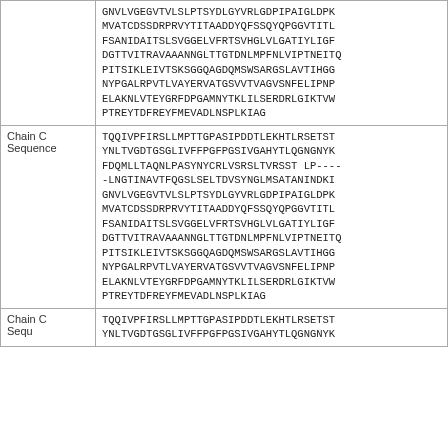| Label | Sequence |
| --- | --- |
|  | GNVLVGEGVTVLSLPTSYDLGYVRLGDPIPAIGLDPKMVATCDSSDRPRVYTITAADDYQFSSQYQPGGVTITLFSANIDAITSLSVGGELVFRTSVHGLVLGATIYLIGFDGTTVITRAVAAANNGLTTGTDNLMPFNLVIPTNEITQPITSIKLEIVTSKSGGQAGDQMSWSARGSLAVTIHGGNYPGALRPVTLVAYERVATGSVVTVAGVSNFELIPNPELAKNLVTEYGRFDPGAMNYTKLILSERDRLGIKTVWPTREYTDFREYFMEVADLNSPLKIAG |
| Chain C Sequence | TQQIVPFIRSLLMPTTGPASIPDDTLEKHTLRSETSTYNLTVGDTGSGLIVFFPGFPGSIVGAHYTLQGNGNYKFDQMLLTAQNLPASYNYCRLVSRSLTVRSST LP-----LNGTINAVTFQGSLSELTDVSYNGLMSATANINDKIGNVLVGEGVTVLSLPTSYDLGYVRLGDPIPAIGLDPKMVATCDSSDRPRVYTITAADDYQFSSQYQPGGVTITLFSANIDAITSLSVGGELVFRTSVHGLVLGATIYLIGFDGTTVITRAVAAANNGLTTGTDNLMPFNLVIPTNEITQPITSIKLEIVTSKSGGQAGDQMSWSARGSLAVTIHGGNYPGALRPVTLVAYERVATGSVVTVAGVSNFELIPNPELAKNLVTEYGRFDPGAMNYTKLILSERDRLGIKTVWPTREYTDFREYFMEVADLNSPLKIAG |
| Chain C Sequence | TQQIVPFIRSLLMPTTGPASIPDDTLEKHTLRSETSTYNLTVGDTGSGLIVFFPGFPGSIVGAHYTLQGNGNYK |